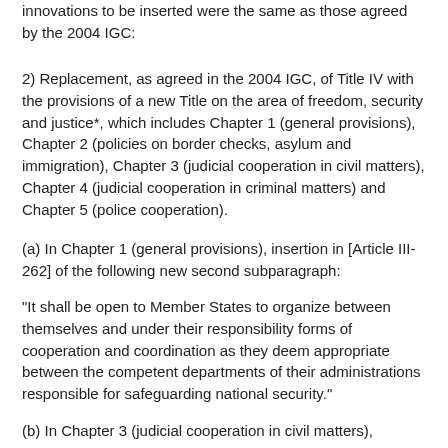innovations to be inserted were the same as those agreed by the 2004 IGC:
2) Replacement, as agreed in the 2004 IGC, of Title IV with the provisions of a new Title on the area of freedom, security and justice*, which includes Chapter 1 (general provisions), Chapter 2 (policies on border checks, asylum and immigration), Chapter 3 (judicial cooperation in civil matters), Chapter 4 (judicial cooperation in criminal matters) and Chapter 5 (police cooperation).
(a) In Chapter 1 (general provisions), insertion in [Article III-262] of the following new second subparagraph:
"It shall be open to Member States to organize between themselves and under their responsibility forms of cooperation and coordination as they deem appropriate between the competent departments of their administrations responsible for safeguarding national security."
(b) In Chapter 3 (judicial cooperation in civil matters),